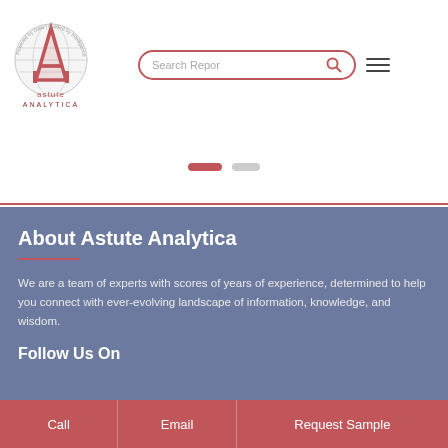[Figure (logo): Astute Analytica logo — circular badge with globe and A mark, text 'astute ANALYTICA']
[Figure (screenshot): Search bar with placeholder text 'Search Repor' and red search icon, plus hamburger menu icon]
[Figure (other): Slider navigation dots — one active red pill and one inactive gray pill]
About Astute Analytica
We are a team of experts with scores of years of experience, determined to help you connect with ever-evolving landscape of information, knowledge, and wisdom.
Follow Us On
Call | Email | Request Sample